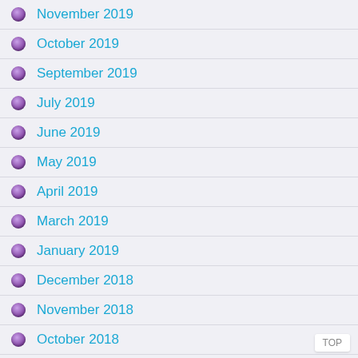November 2019
October 2019
September 2019
July 2019
June 2019
May 2019
April 2019
March 2019
January 2019
December 2018
November 2018
October 2018
September 2018
August 2018
May 2018